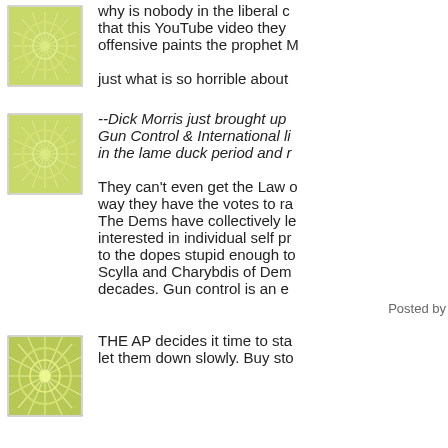[Figure (illustration): Green decorative flower/mandala pattern avatar icon (top)]
why is nobody in the liberal c that this YouTube video they offensive paints the prophet M
just what is so horrible about
[Figure (illustration): Green decorative flower/mandala pattern avatar icon (middle)]
--Dick Morris just brought up Gun Control & International li in the lame duck period and r
They can't even get the Law o way they have the votes to ra The Dems have collectively le interested in individual self pr to the dopes stupid enough to Scylla and Charybdis of Dem decades. Gun control is an e
Posted by
[Figure (illustration): Green decorative flower/mandala pattern avatar icon (bottom)]
THE AP decides it time to sta let them down slowly. Buy sto